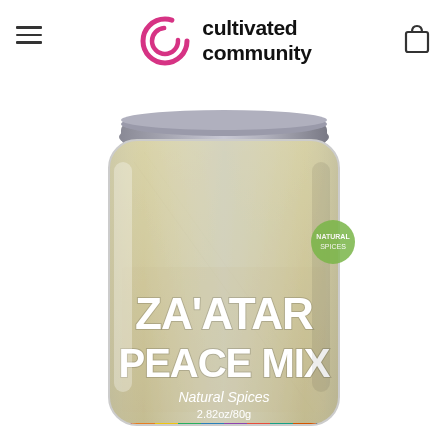cultivated community
[Figure (photo): A glass jar of Zaatar Peace Mix natural spices, 2.82oz/80g, with a gray lid and colorful stripe at the bottom of the label, showing the product name in large white text on the jar.]